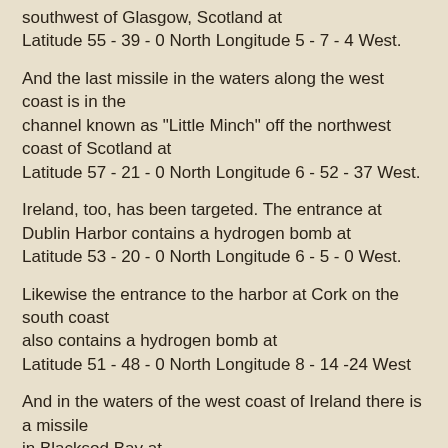southwest of Glasgow, Scotland at Latitude 55 - 39 - 0 North Longitude 5 - 7 - 4 West.
And the last missile in the waters along the west coast is in the channel known as "Little Minch" off the northwest coast of Scotland at Latitude 57 - 21 - 0 North Longitude 6 - 52 - 37 West.
Ireland, too, has been targeted. The entrance at Dublin Harbor contains a hydrogen bomb at Latitude 53 - 20 - 0 North Longitude 6 - 5 - 0 West.
Likewise the entrance to the harbor at Cork on the south coast also contains a hydrogen bomb at Latitude 51 - 48 - 0 North Longitude 8 - 14 -24 West
And in the waters of the west coast of Ireland there is a missile in Blacksod Bay at Latitude 54 - 1 - 30 North Longitude 9 - 56 - 34 West.